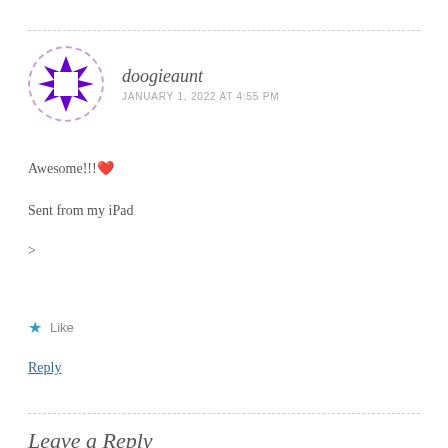doogieaunt
JANUARY 1, 2022 AT 4:55 PM
Awesome!!! ❤️
Sent from my iPad
>
★ Like
Reply
Leave a Reply